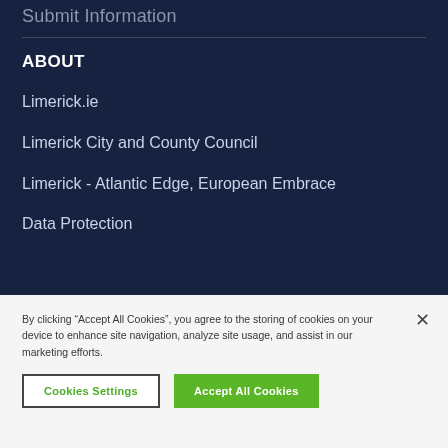Submit Information
ABOUT
Limerick.ie
Limerick City and County Council
Limerick - Atlantic Edge, European Embrace
Data Protection
By clicking “Accept All Cookies”, you agree to the storing of cookies on your device to enhance site navigation, analyze site usage, and assist in our marketing efforts.
Cookies Settings
Accept All Cookies